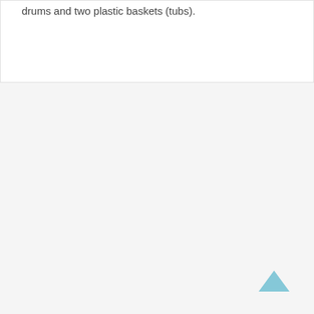drums and two plastic baskets (tubs).
[Figure (other): Back to top arrow icon in light blue]